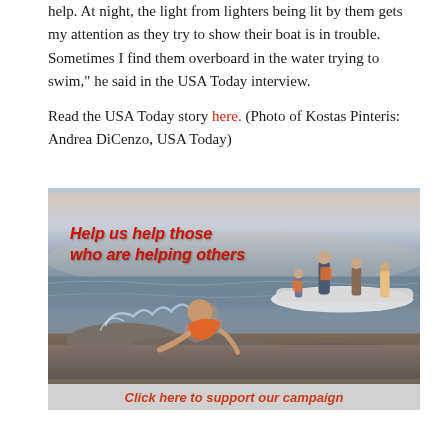help. At night, the light from lighters being lit by them gets my attention as they try to show their boat is in trouble. Sometimes I find them overboard in the water trying to swim," he said in the USA Today interview.
Read the USA Today story here. (Photo of Kostas Pinteris: Andrea DiCenzo, USA Today)
[Figure (photo): Photo of refugees arriving by inflatable boat to shore. A young child in an orange life vest is crawling onto rocks in the foreground through splashing waves. Several adults are visible helping people off the boat in the background. Overlaid text reads 'Help us help those who are helping others' in bold red italic. A banner at the bottom reads 'Click here to support our campaign'.]